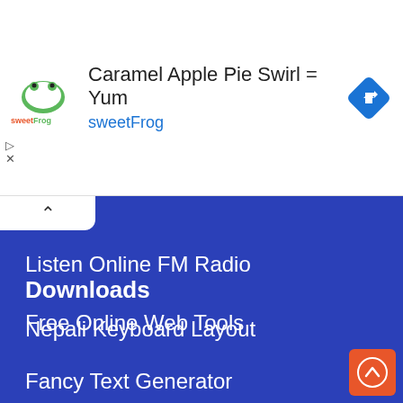[Figure (screenshot): sweetFrog advertisement banner with logo, text 'Caramel Apple Pie Swirl = Yum', 'sweetFrog' subtitle, and a blue diamond navigation icon]
Listen Online FM Radio
Free Online Web Tools
Fancy Text Generator
Online Typeshala
Downloads
Nepali Keyboard Layout